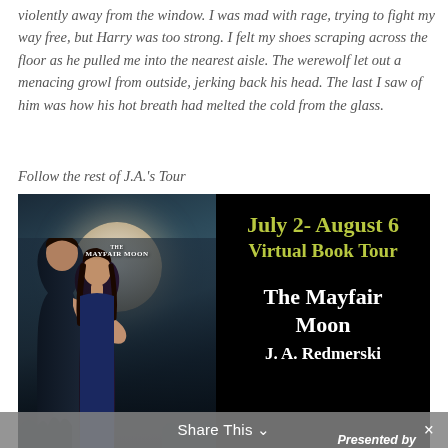violently away from the window. I was mad with rage, trying to fight my way free, but Harry was too strong. I felt my shoes scraping across the floor as he pulled me into the nearest aisle. The werewolf let out a menacing growl from outside, jerking back his head. The last I saw of him was how his hot breath had melted the cold from the glass.
Follow the rest of J.A.'s Tour
[Figure (illustration): Left half: book cover for 'The Mayfair Moon' showing a man and woman embracing under a full moon against a dark moody background. Right half: black promotional banner reading 'July 2- August 6 Virtual Book Tour / The Mayfair Moon / J. A. Redmerski' with date in yellow-green and book title/author in white.]
Share This
Presented by